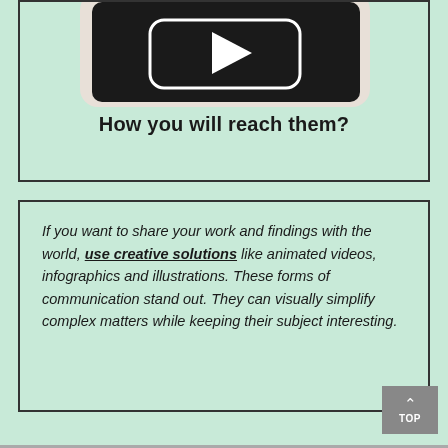[Figure (illustration): Partial view of a tablet/device with dark screen and a play button icon, shown cropped at the top of the page inside a bordered box]
How you will reach them?
If you want to share your work and findings with the world, use creative solutions like animated videos, infographics and illustrations. These forms of communication stand out. They can visually simplify complex matters while keeping their subject interesting.